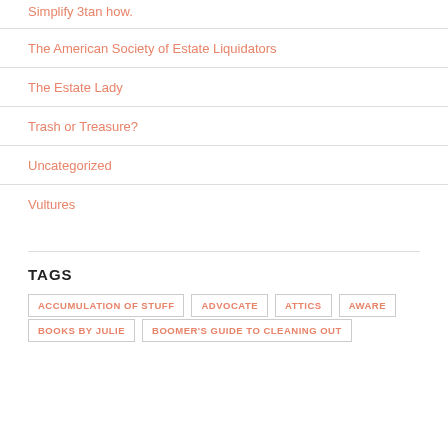The American Society of Estate Liquidators
The Estate Lady
Trash or Treasure?
Uncategorized
Vultures
TAGS
ACCUMULATION OF STUFF
ADVOCATE
ATTICS
AWARE
BOOKS BY JULIE
BOOMER'S GUIDE TO CLEANING OUT